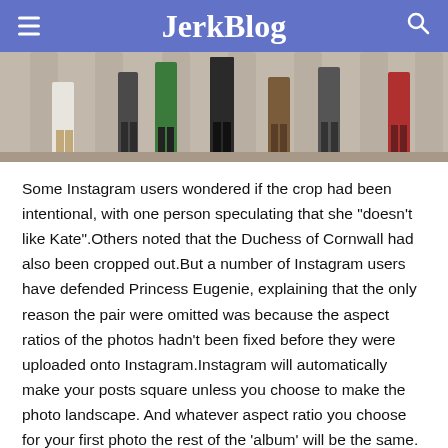JerkBlog
[Figure (photo): Cropped photo showing legs and lower bodies of several people standing in front of stone columns, with various colored outfits visible.]
Some Instagram users wondered if the crop had been intentional, with one person speculating that she “doesn’t like Kate”.Others noted that the Duchess of Cornwall had also been cropped out.But a number of Instagram users have defended Princess Eugenie, explaining that the only reason the pair were omitted was because the aspect ratios of the photos hadn't been fixed before they were uploaded onto Instagram.Instagram will automatically make your posts square unless you choose to make the photo landscape. And whatever aspect ratio you choose for your first photo the rest of the ‘album’ will be the same.